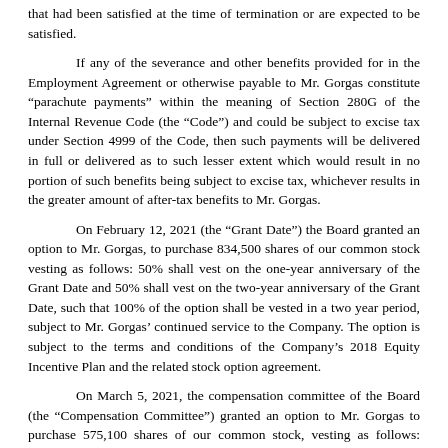that had been satisfied at the time of termination or are expected to be satisfied.
If any of the severance and other benefits provided for in the Employment Agreement or otherwise payable to Mr. Gorgas constitute “parachute payments” within the meaning of Section 280G of the Internal Revenue Code (the “Code”) and could be subject to excise tax under Section 4999 of the Code, then such payments will be delivered in full or delivered as to such lesser extent which would result in no portion of such benefits being subject to excise tax, whichever results in the greater amount of after-tax benefits to Mr. Gorgas.
On February 12, 2021 (the “Grant Date”) the Board granted an option to Mr. Gorgas, to purchase 834,500 shares of our common stock vesting as follows: 50% shall vest on the one-year anniversary of the Grant Date and 50% shall vest on the two-year anniversary of the Grant Date, such that 100% of the option shall be vested in a two year period, subject to Mr. Gorgas’ continued service to the Company. The option is subject to the terms and conditions of the Company’s 2018 Equity Incentive Plan and the related stock option agreement.
On March 5, 2021, the compensation committee of the Board (the “Compensation Committee”) granted an option to Mr. Gorgas to purchase 575,100 shares of our common stock, vesting as follows: twenty-five percent (25%) of the shares subject to the option shall vest on the one (1) year anniversary of the Vesting Commencement Date (as defined below), and one forty-eighth (1/48th) of the shares subject to the option shall vest each month thereafter on the same day of the